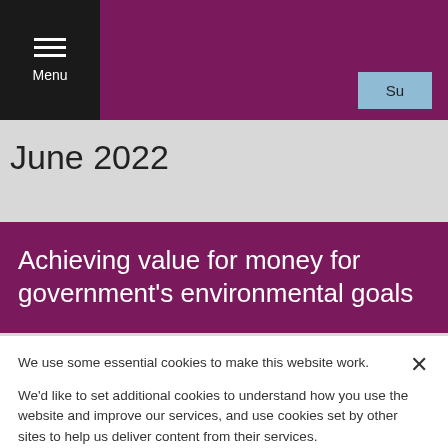NAO blog
June 2022
Achieving value for money for government's environmental goals
We use some essential cookies to make this website work.
We'd like to set additional cookies to understand how you use the website and improve our services, and use cookies set by other sites to help us deliver content from their services.
Cookie Policy